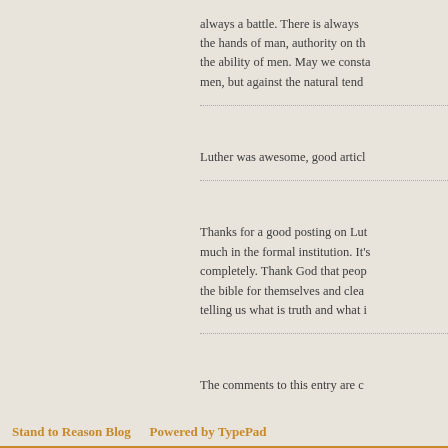always a battle. There is always the hands of man, authority on the the ability of men. May we consta men, but against the natural tend
Luther was awesome, good articl
Thanks for a good posting on Lut much in the formal institution. It's completely. Thank God that peop the bible for themselves and clea telling us what is truth and what i
The comments to this entry are c
Stand to Reason Blog    Powered by TypePad